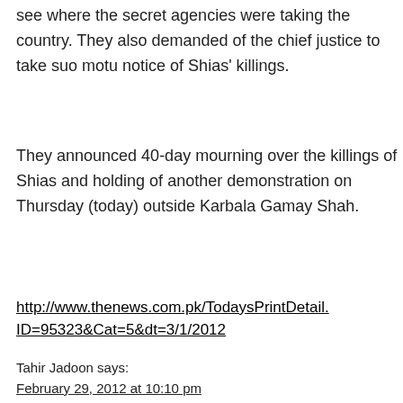see where the secret agencies were taking the country. They also demanded of the chief justice to take suo motu notice of Shias' killings.
They announced 40-day mourning over the killings of Shias and holding of another demonstration on Thursday (today) outside Karbala Gamay Shah.
http://www.thenews.com.pk/TodaysPrintDetail.aspx?ID=95323&Cat=5&dt=3/1/2012
Tahir Jadoon says:
February 29, 2012 at 10:10 pm